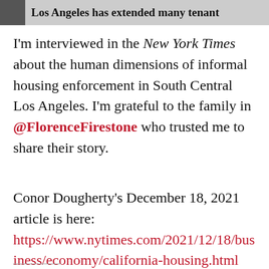[Figure (screenshot): Partial newspaper/article header image with bold text: 'Los Angeles has extended many tenant']
I'm interviewed in the New York Times about the human dimensions of informal housing enforcement in South Central Los Angeles. I'm grateful to the family in @FlorenceFirestone who trusted me to share their story.
Conor Dougherty's December 18, 2021 article is here: https://www.nytimes.com/2021/12/18/business/economy/california-housing.html